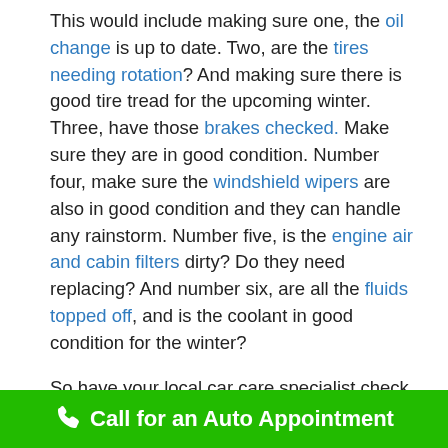This would include making sure one, the oil change is up to date. Two, are the tires needing rotation? And making sure there is good tire tread for the upcoming winter. Three, have those brakes checked. Make sure they are in good condition. Number four, make sure the windshield wipers are also in good condition and they can handle any rainstorm. Number five, is the engine air and cabin filters dirty? Do they need replacing? And number six, are all the fluids topped off, and is the coolant in good condition for the winter?

So have your local car care specialist check out all those things because that's what we do. Feel free to call us, (609) 625-3286 or click the book button
Call for an Auto Appointment